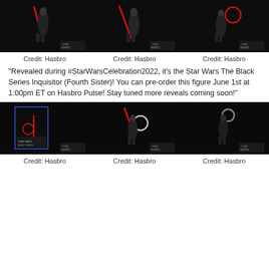[Figure (photo): Three dark product photos of Star Wars Black Series Inquisitor (Fourth Sister) action figure with red lightsaber, various poses, with Star Wars logo watermark]
Credit: Hasbro
Credit: Hasbro
Credit: Hasbro
"Revealed during #StarWarsCelebration2022, it's the Star Wars The Black Series Inquisitor (Fourth Sister)! You can pre-order this figure June 1st at 1:00pm ET on Hasbro Pulse! Stay tuned more reveals coming soon!"
[Figure (photo): Three dark product photos of Star Wars Black Series Fourth Sister action figure: boxed packaging, figure with double-bladed red lightsaber, and rear view, each with Star Wars logo watermark]
Credit: Hasbro
Credit: Hasbro
Credit: Hasbro